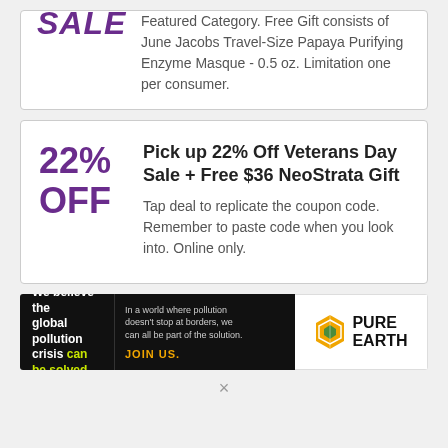SALE — Featured Category. Free Gift consists of June Jacobs Travel-Size Papaya Purifying Enzyme Masque - 0.5 oz. Limitation one per consumer.
Pick up 22% Off Veterans Day Sale + Free $36 NeoStrata Gift
Tap deal to replicate the coupon code. Remember to paste code when you look into. Online only.
[Figure (infographic): Pure Earth advertisement banner: 'We believe the global pollution crisis can be solved. In a world where pollution doesn't stop at borders, we can all be part of the solution. JOIN US.' with Pure Earth diamond logo.]
×